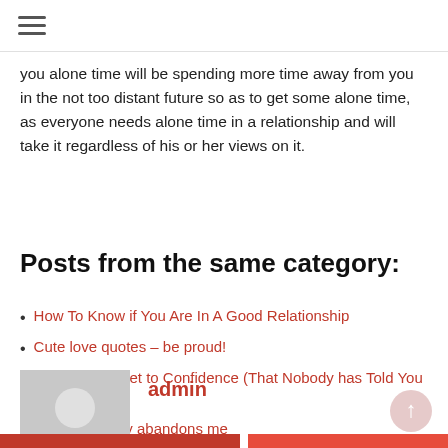≡
you alone time will be spending more time away from you in the not too distant future so as to get some alone time, as everyone needs alone time in a relationship and will take it regardless of his or her views on it.
Posts from the same category:
How To Know if You Are In A Good Relationship
Cute love quotes – be proud!
The Real Secret to Confidence (That Nobody has Told You Yet)
He emotionally abandons me
[Figure (illustration): Generic user avatar placeholder — grey circle head and torso silhouette on grey background]
admin